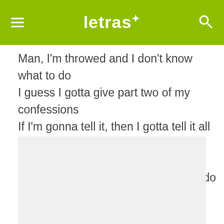letras
Man, I'm throwed and I don't know what to do
I guess I gotta give part two of my confessions
If I'm gonna tell it, then I gotta tell it all
Damn, near cried when I got that phone call
I'm so throwed, I don't know what to do
But to give you part two of my confessions
[Figure (other): Advertisement placeholder block with light gray background]